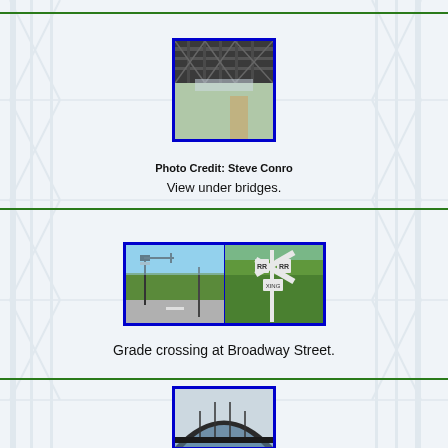[Figure (photo): View looking up under a bridge showing steel truss structure and girders from below]
Photo Credit: Steve Conro
View under bridges.
[Figure (photo): Two photos side-by-side: left shows a grade crossing at Broadway Street with traffic signals and road; right shows a railroad crossing sign with vegetation]
Grade crossing at Broadway Street.
[Figure (photo): View of a steel arch railroad bridge from below/front angle showing truss arch structure]